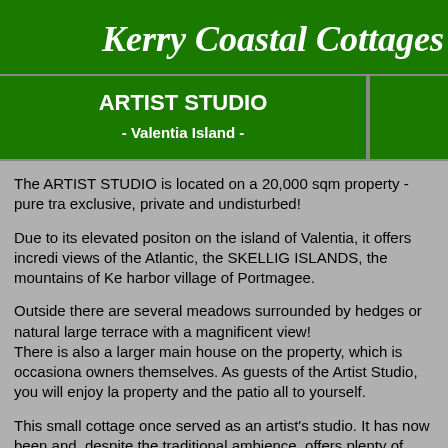Kerry Coastal Cottages
ARTIST STUDIO
- Valentia Island -
The ARTIST STUDIO is located on a 20,000 sqm property - pure tra exclusive, private and undisturbed!
Due to its elevated positon on the island of Valentia, it offers incredi views of the Atlantic, the SKELLIG ISLANDS, the mountains of Ke harbor village of Portmagee.
Outside there are several meadows surrounded by hedges or natural large terrace with a magnificent view! There is also a larger main house on the property, which is occasiona owners themselves. As guests of the Artist Studio, you will enjoy la property and the patio all to yourself.
This small cottage once served as an artist's studio. It has now been and, despite the traditional ambience, offers plenty of comfort for 2